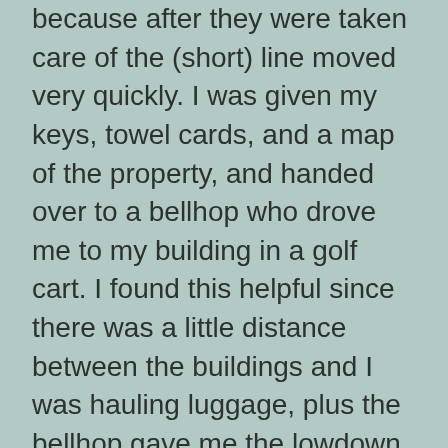because after they were taken care of the (short) line moved very quickly.  I was given my keys, towel cards, and a map of the property, and handed over to a bellhop who drove me to my building in a golf cart.  I found this helpful since there was a little distance between the buildings and I was hauling luggage, plus the bellhop gave me the lowdown on where everything was.
Rooms:
I stayed in building 24.  The room was a little musty, probably because of the humidity, but after the first day I didn't notice it.  The staff